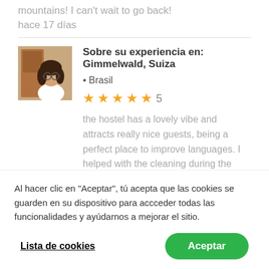mountains! I can't wait to go back!
hace 17 días
Sobre su experiencia en: Gimmelwald, Suiza
• Brasil
[Figure (other): 5-star rating with stars and number 5]
the hostel has a lovely vibe and attracts really nice guests, being a perfect place to improve languages. I helped with the cleaning during the mornings and I shared tasks with the others
Al hacer clic en "Aceptar", tú acepta que las cookies se guarden en su dispositivo para accceder todas las funcionalidades y ayúdarnos a mejorar el sitio.
Lista de cookies
Aceptar